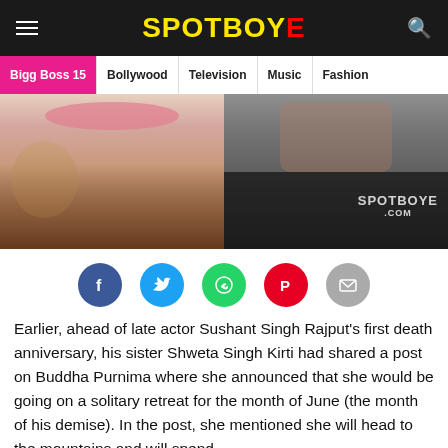SPOTBOYE
Bigg Boss 15 | Bollywood | Television | Music | Fashion
[Figure (photo): Split celebrity photo: left side shows a woman with long hair and pink lips wearing polka dot top, right side shows a man with stubble in dark clothing. SPOTBOYE.COM watermark visible on right side.]
[Figure (infographic): Social media share buttons row: Facebook (blue), Twitter (light blue), WhatsApp (green), Pinterest (red), Email (grey)]
Earlier, ahead of late actor Sushant Singh Rajput's first death anniversary, his sister Shweta Singh Kirti had shared a post on Buddha Purnima where she announced that she would be going on a solitary retreat for the month of June (the month of his demise). In the post, she mentioned she will head to the mountains and will spend